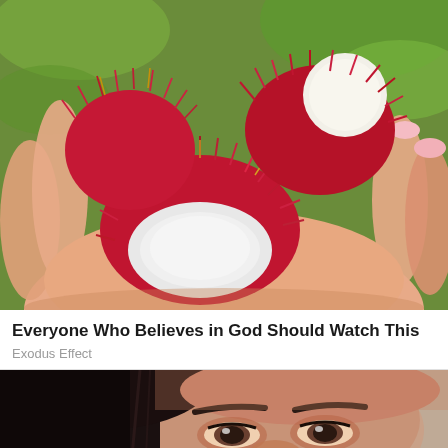[Figure (photo): A hand holding red rambutan fruits, one of which is cut open to reveal the white translucent interior flesh. The background shows green foliage.]
Everyone Who Believes in God Should Watch This
Exodus Effect
[Figure (photo): Close-up of a woman's face with dark hair and eyes, appearing to hold something white near her nose, against a beige/tan background.]